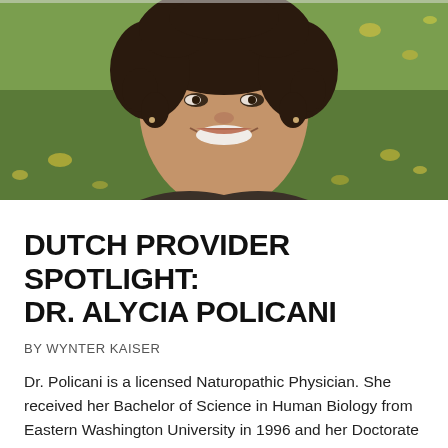[Figure (photo): Headshot of Dr. Alycia Policani, a woman with curly dark hair, smiling, wearing a dark sweater, outdoors with a green grassy background with yellow leaves.]
DUTCH PROVIDER SPOTLIGHT: DR. ALYCIA POLICANI
BY WYNTER KAISER
Dr. Policani is a licensed Naturopathic Physician. She received her Bachelor of Science in Human Biology from Eastern Washington University in 1996 and her Doctorate of Naturopathic Medicine from